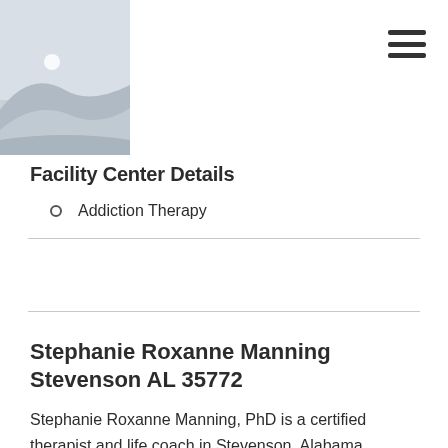[Figure (logo): Website header with logo image showing landscape/hills silhouette in grey tones with a circular dot element, and a hamburger menu icon in top right]
Facility Center Details
Addiction Therapy
Stephanie Roxanne Manning Stevenson AL 35772
Stephanie Roxanne Manning, PhD is a certified therapist and life coach in Stevenson, Alabama. Stephanie is a life